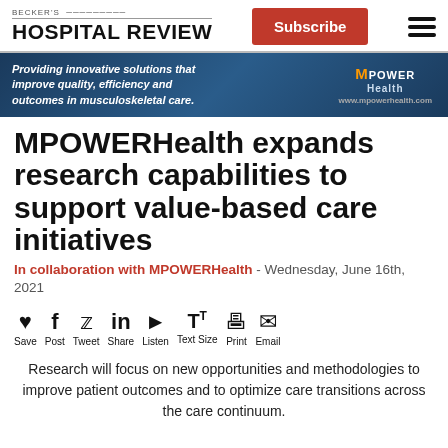BECKER'S HOSPITAL REVIEW | Subscribe
[Figure (infographic): MPOWERHealth advertisement banner: 'Providing innovative solutions that improve quality, efficiency and outcomes in musculoskeletal care.' with MPOWERHealth logo on dark blue background]
MPOWERHealth expands research capabilities to support value-based care initiatives
In collaboration with MPOWERHealth - Wednesday, June 16th, 2021
Save Post Tweet Share Listen Text Size Print Email
Research will focus on new opportunities and methodologies to improve patient outcomes and to optimize care transitions across the care continuum.